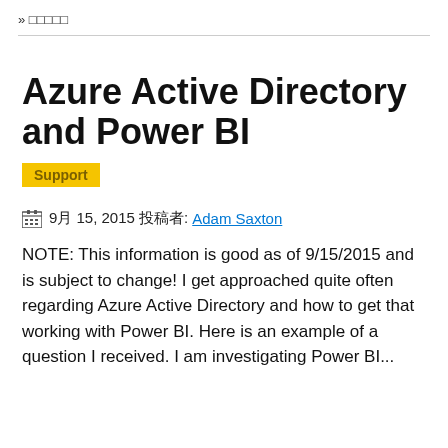» □□□□□
Azure Active Directory and Power BI
Support
9月 15, 2015 投稿者: Adam Saxton
NOTE: This information is good as of 9/15/2015 and is subject to change! I get approached quite often regarding Azure Active Directory and how to get that working with Power BI. Here is an example of a question I received. I am investigating Power BI...